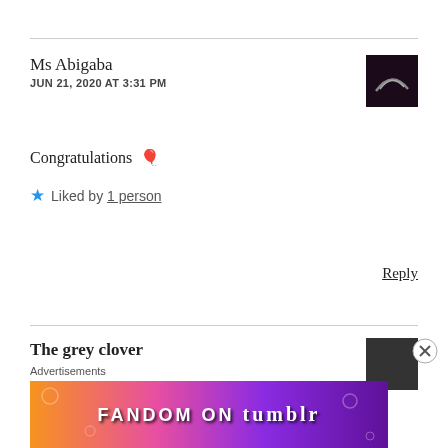Ms Abigaba
JUN 21, 2020 AT 3:31 PM
[Figure (photo): Dark profile avatar thumbnail with arc shape]
Congratulations 🎈
★ Liked by 1 person
Reply
The grey clover
Advertisements
[Figure (infographic): FANDOM ON tumblr advertisement banner with colorful gradient background]